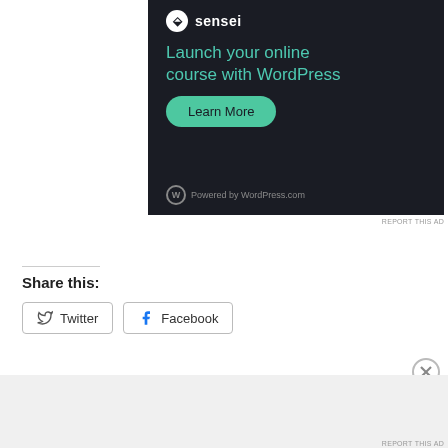[Figure (screenshot): Sensei advertisement — dark background with teal heading 'Launch your online course with WordPress', a teal 'Learn More' button, and 'Powered by WordPress.com' footer]
REPORT THIS AD
Share this:
[Figure (screenshot): Twitter share button with bird icon]
[Figure (screenshot): Facebook share button with Facebook logo]
[Figure (screenshot): Close (X) button]
Advertisements
[Figure (screenshot): DuckDuckGo advertisement — orange left panel with text 'Search, browse, and email with more privacy. All in One Free App', dark right panel with DuckDuckGo duck logo and brand name]
REPORT THIS AD